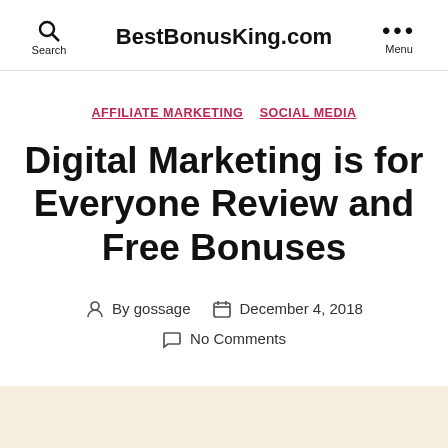BestBonusKing.com
AFFILIATE MARKETING   SOCIAL MEDIA
Digital Marketing is for Everyone Review and Free Bonuses
By gossage   December 4, 2018   No Comments